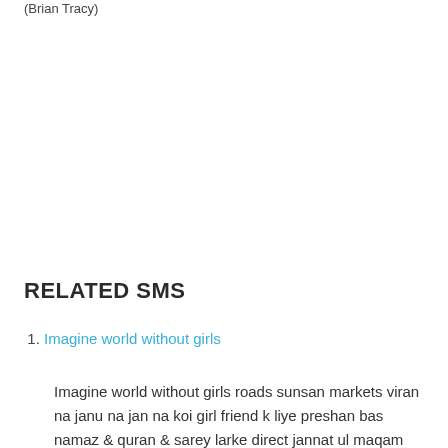(Brian Tracy)
RELATED SMS
Imagine world without girls
Imagine world without girls roads sunsan markets viran na janu na jan na koi girl friend k liye preshan bas namaz & quran & sarey larke direct jannat ul maqam